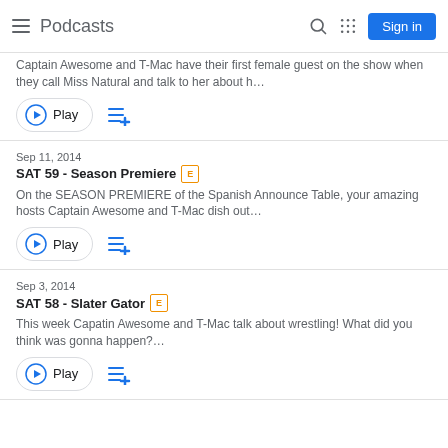Podcasts
Captain Awesome and T-Mac have their first female guest on the show when they call Miss Natural and talk to her about h…
Sep 11, 2014
SAT 59 - Season Premiere [E]
On the SEASON PREMIERE of the Spanish Announce Table, your amazing hosts Captain Awesome and T-Mac dish out…
Sep 3, 2014
SAT 58 - Slater Gator [E]
This week Capatin Awesome and T-Mac talk about wrestling! What did you think was gonna happen?…